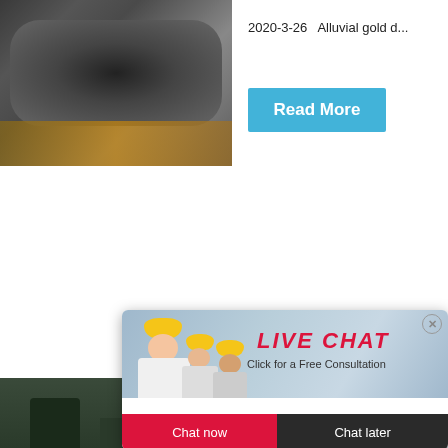[Figure (photo): Industrial ball mill machine in a warehouse, dark metal cylindrical equipment on wooden pallet]
2020-3-26   Alluvial gold d...
Read More
[Figure (photo): Industrial mining/crushing plant with dark machinery and equipment]
[Figure (screenshot): Live chat popup overlay showing workers in yellow hard hats with text LIVE CHAT - Click for a Free Consultation, Chat now and Chat later buttons]
hour online
[Figure (photo): Crusher/impact mill machine, grey industrial mining equipment]
Click me to chat>>
Enquiry
limingjlmofen
Read
[Figure (photo): Construction/mining site with orange machinery and scaffolding]
Mining
United
Legend